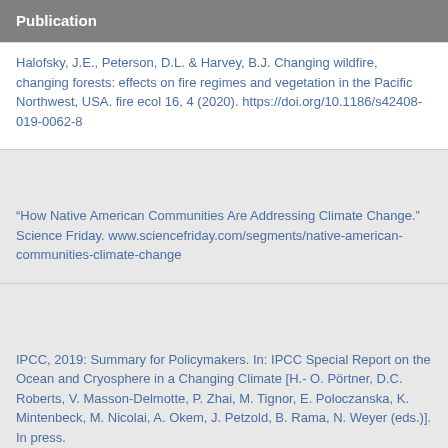Publication
Halofsky, J.E., Peterson, D.L. & Harvey, B.J. Changing wildfire, changing forests: effects on fire regimes and vegetation in the Pacific Northwest, USA. fire ecol 16, 4 (2020). https://doi.org/10.1186/s42408-019-0062-8
“How Native American Communities Are Addressing Climate Change.” Science Friday. www.sciencefriday.com/segments/native-american-communities-climate-change
IPCC, 2019: Summary for Policymakers. In: IPCC Special Report on the Ocean and Cryosphere in a Changing Climate [H.- O. Pörtner, D.C. Roberts, V. Masson-Delmotte, P. Zhai, M. Tignor, E. Poloczanska, K. Mintenbeck, M. Nicolai, A. Okem, J. Petzold, B. Rama, N. Weyer (eds.)]. In press.